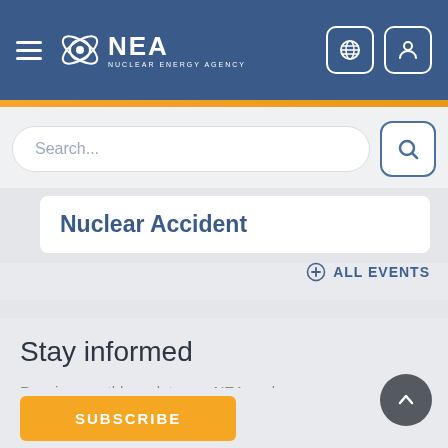NEA - Nuclear Energy Agency
Search...
Nuclear Accident
+ ALL EVENTS
Stay informed
Receive monthly updates on NEA work, activities and newly released reports.
SUBSCRIBE